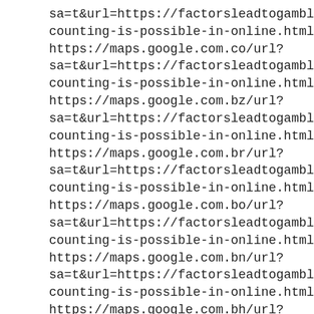sa=t&url=https://factorsleadtogambling.blogspot.com/counting-is-possible-in-online.html https://maps.google.com.co/url?sa=t&url=https://factorsleadtogambling.blogspot.com/counting-is-possible-in-online.html https://maps.google.com.bz/url?sa=t&url=https://factorsleadtogambling.blogspot.com/counting-is-possible-in-online.html https://maps.google.com.br/url?sa=t&url=https://factorsleadtogambling.blogspot.com/counting-is-possible-in-online.html https://maps.google.com.bo/url?sa=t&url=https://factorsleadtogambling.blogspot.com/counting-is-possible-in-online.html https://maps.google.com.bn/url?sa=t&url=https://factorsleadtogambling.blogspot.com/counting-is-possible-in-online.html https://maps.google.com.bh/url?sa=t&url=https://factorsleadtogambling.blogspot.com/counting-is-possible-in-online.html https://maps.google.com.bd/url?